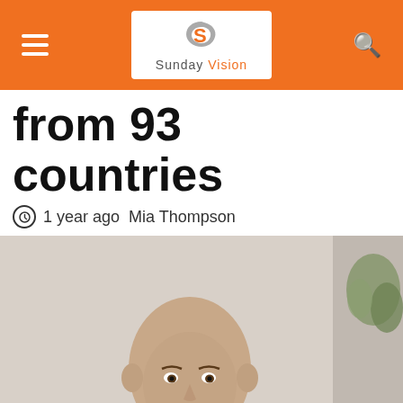Sunday Vision
from 93 countries
1 year ago  Mia Thompson
[Figure (photo): A bald man in a grey t-shirt seated, photographed from the torso up against a light background with a plant visible in the upper right corner.]